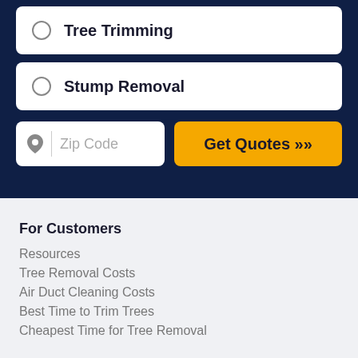Tree Trimming
Stump Removal
Zip Code
Get Quotes »
For Customers
Resources
Tree Removal Costs
Air Duct Cleaning Costs
Best Time to Trim Trees
Cheapest Time for Tree Removal